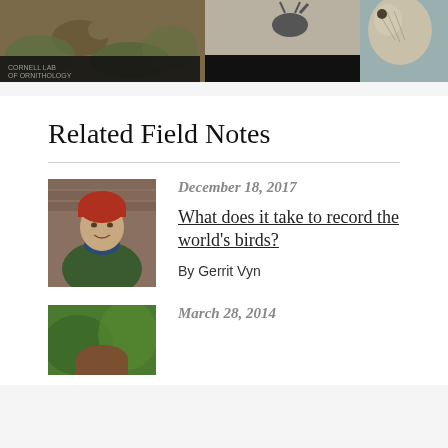[Figure (photo): Header collage of wildlife photos: deer/animal in shrubs, silhouette of bird/animal, close-up of a bird (possibly a pheasant or similar)]
Related Field Notes
[Figure (photo): Portrait photo of a man wearing a red beanie hat and green jacket with blue scarf, smiling]
December 18, 2017
What does it take to record the world's birds?
By Gerrit Vyn
[Figure (photo): Partial portrait photo of a person with brown hair outdoors among green foliage]
March 28, 2014